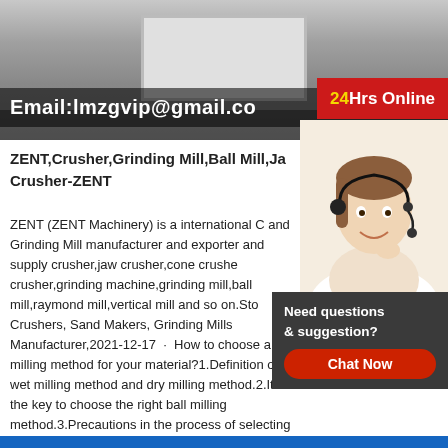[Figure (photo): Factory interior showing large industrial machinery with an email overlay text reading Email:lmzgvip@gmail.co and a 24Hrs Online red badge]
ZENT,Crusher,Grinding Mill,Ball Mill,Ja Crusher-ZENT
ZENT (ZENT Machinery) is a international C and Grinding Mill manufacturer and exporter and supply crusher,jaw crusher,cone crushe crusher,grinding machine,grinding mill,ball mill,raymond mill,vertical mill and so on.Sto Crushers, Sand Makers, Grinding Mills Manufacturer,2021-12-17 · How to choose a milling method for your material?1.Definition of wet milling method and dry milling method.2.It is the key to choose the right ball milling method.3.Precautions in the process of selecting a grinding method.4.Wet ball mill is more economical and practical than dry ball mill. READ MORE